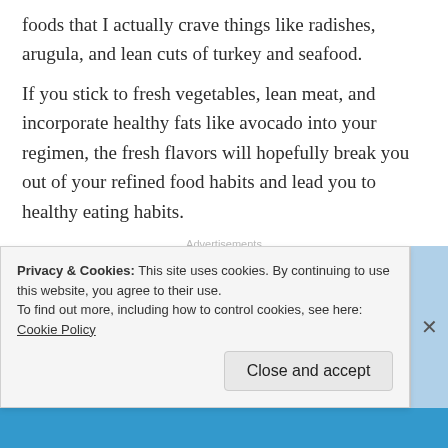foods that I actually crave things like radishes, arugula, and lean cuts of turkey and seafood.
If you stick to fresh vegetables, lean meat, and incorporate healthy fats like avocado into your regimen, the fresh flavors will hopefully break you out of your refined food habits and lead you to healthy eating habits.
Advertisements
Privacy & Cookies: This site uses cookies. By continuing to use this website, you agree to their use.
To find out more, including how to control cookies, see here: Cookie Policy
Close and accept